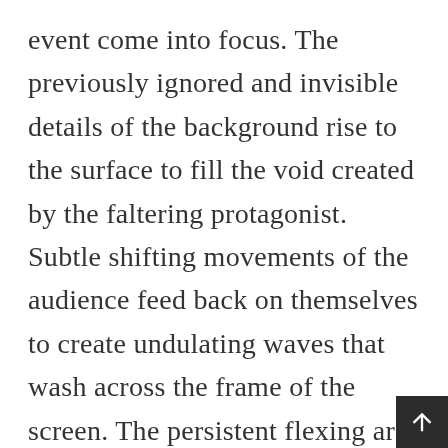event come into focus. The previously ignored and invisible details of the background rise to the surface to fill the void created by the faltering protagonist. Subtle shifting movements of the audience feed back on themselves to create undulating waves that wash across the frame of the screen. The persistent flexing arc of the diving board splits the screen in two, compressing the air and space around it into all but audible waves. Vibrating geometric structures emerge a figures and forms break down into the